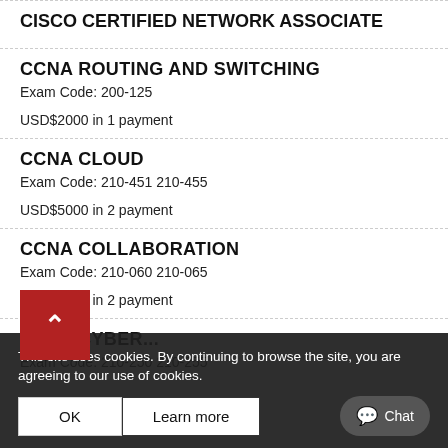CISCO CERTIFIED NETWORK ASSOCIATE
CCNA ROUTING AND SWITCHING
Exam Code: 200-125
USD$2000 in 1 payment
CCNA CLOUD
Exam Code: 210-451 210-455
USD$5000 in 2 payment
CCNA COLLABORATION
Exam Code: 210-060 210-065
USD$5000 in 2 payment
CCNA CYBER...
Exam Code: 210-250 210-255
This site uses cookies. By continuing to browse the site, you are agreeing to our use of cookies.